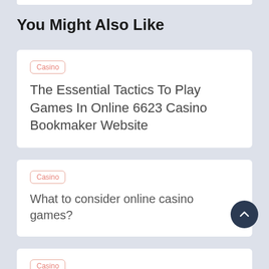You Might Also Like
Casino
The Essential Tactics To Play Games In Online 6623 Casino Bookmaker Website
Casino
What to consider online casino games?
Casino